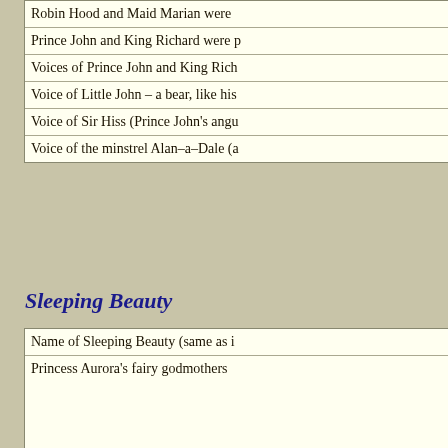Robin Hood and Maid Marian were [...]
Prince John and King Richard were [...]
Voices of Prince John and King Rich[...]
Voice of Little John – a bear, like his [...]
Voice of Sir Hiss (Prince John's angu[...]
Voice of the minstrel Alan-a-Dale (a[...]
Sleeping Beauty
Name of Sleeping Beauty (same as i[...]
Princess Aurora's fairy godmothers
Name of the prince (the only princel[...]
Snow White and the Sev[...]
The dwarfs' occupation
Dwarf with the longest name
Dwarf that wore glasses
Dwarf who didn't have a beard
Song of the South